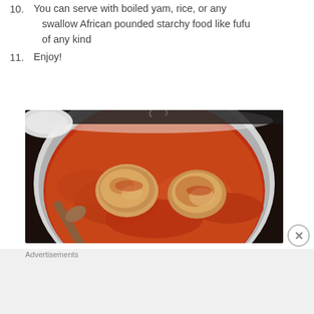10. You can serve with boiled yam, rice, or any swallow African pounded starchy food like fufu of any kind
11. Enjoy!
[Figure (photo): A pot of Nigerian stew with chicken pieces cooking in a rich orange-red tomato-based sauce, with a wooden spoon visible]
Advertisements
[Figure (screenshot): DuckDuckGo advertisement banner with orange background reading 'Search, browse, and email with more privacy. All in One Free App' with a phone showing the DuckDuckGo app]